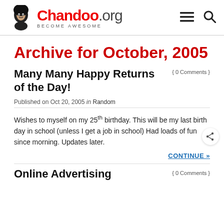Chandoo.org - BECOME AWESOME
Archive for October, 2005
Many Many Happy Returns of the Day!
Published on Oct 20, 2005 in Random
Wishes to myself on my 25th birthday. This will be my last birth day in school (unless I get a job in school) Had loads of fun since morning. Updates later.
CONTINUE »
Online Advertising